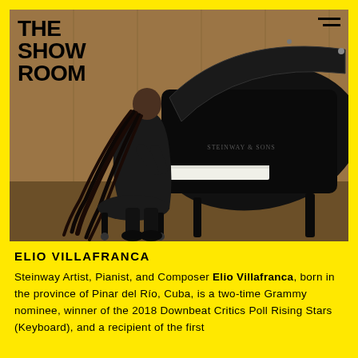THE SHOW ROOM
[Figure (photo): A pianist with long braided hair, wearing a black suit, seated at a black Steinway grand piano on a concert stage with warm wood paneling in the background, viewed from behind and slightly to the left.]
ELIO VILLAFRANCA
Steinway Artist, Pianist, and Composer Elio Villafranca, born in the province of Pinar del Río, Cuba, is a two-time Grammy nominee, winner of the 2018 Downbeat Critics Poll Rising Stars (Keyboard), and a recipient of the first